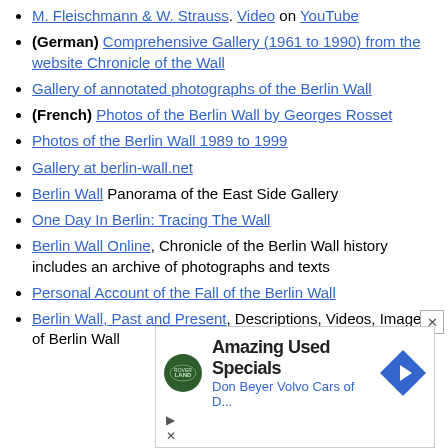M. Fleischmann & W. Strauss. Video on YouTube
(German) Comprehensive Gallery (1961 to 1990) from the website Chronicle of the Wall
Gallery of annotated photographs of the Berlin Wall
(French) Photos of the Berlin Wall by Georges Rosset
Photos of the Berlin Wall 1989 to 1999
Gallery at berlin-wall.net
Berlin Wall Panorama of the East Side Gallery
One Day In Berlin: Tracing The Wall
Berlin Wall Online, Chronicle of the Berlin Wall history includes an archive of photographs and texts
Personal Account of the Fall of the Berlin Wall
Berlin Wall, Past and Present, Descriptions, Videos, Images of Berlin Wall
[Figure (infographic): Advertisement for Don Beyer Volvo Cars with Land Rover logo, text 'Amazing Used Specials', 'Don Beyer Volvo Cars of D...' and a blue navigation arrow icon]